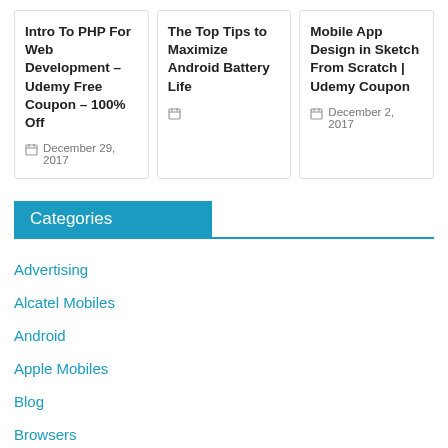Intro To PHP For Web Development – Udemy Free Coupon – 100% Off
December 29, 2017
The Top Tips to Maximize Android Battery Life
Mobile App Design in Sketch From Scratch | Udemy Coupon
December 2, 2017
Categories
Advertising
Alcatel Mobiles
Android
Apple Mobiles
Blog
Browsers